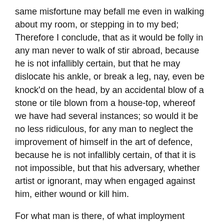same misfortune may befall me even in walking about my room, or stepping in to my bed; Therefore I conclude, that as it would be folly in any man never to walk of stir abroad, because he is not infallibly certain, but that he may dislocate his ankle, or break a leg, nay, even be knock'd on the head, by an accidental blow of a stone or tile blown from a house-top, whereof we have had several instances; so would it be no less ridiculous, for any man to neglect the improvement of himself in the art of defence, because he is not infallibly certain, of that it is not impossible, but that his adversary, whether artist or ignorant, may when engaged against him, either wound or kill him.
For what man is there, of what imployment soever, that dares pretend to an absolute certainty in it? Don't we daily see godly divines draw erroneous doctrines from good and orthodox texts? Great lawyers false prackticks